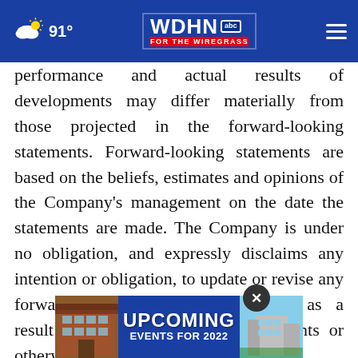91° WDHN abc FOR THE WIREGRASS
performance and actual results of developments may differ materially from those projected in the forward-looking statements. Forward-looking statements are based on the beliefs, estimates and opinions of the Company's management on the date the statements are made. The Company is under no obligation, and expressly disclaims any intention or obligation, to update or revise any forward-looking statements, whether as a result of new information, future events or otherwise, except as expressly required
[Figure (screenshot): Advertisement banner reading UPCOMING EVENTS FOR 2022 on blue background with building photos on left and right sides]